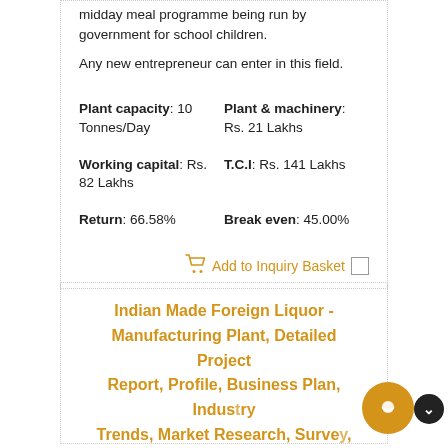midday meal programme being run by government for school children.
Any new entrepreneur can enter in this field.
Plant capacity: 10 Tonnes/Day
Plant & machinery: Rs. 21 Lakhs
Working capital: Rs. 82 Lakhs
T.C.I: Rs. 141 Lakhs
Return: 66.58%
Break even: 45.00%
Add to Inquiry Basket
Indian Made Foreign Liquor - Manufacturing Plant, Detailed Project Report, Profile, Business Plan, Industry Trends, Market Research, Survey, Manufacturing Process, Machinery, Raw Materials, Feasibility Study, Investment...